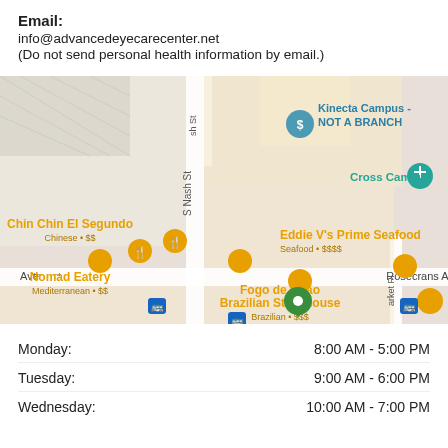Email:
info@advancedeyecarecenter.net
(Do not send personal health information by email.)
[Figure (map): Google Maps screenshot showing the area around S Nash St and Rosecrans Ave in El Segundo, CA. Shows restaurant pins (Chin Chin El Segundo, Nomad Eatery, Eddie V's Prime Seafood, Fogo de Chão Brazilian Steakhouse, Shake Shack), a green location pin, transit icons, Kinecta Campus - NOT A BRANCH marker, Cross Campus marker, Patty Brown Physical Therapy, and 24 Hour Fitness labels.]
| Day | Hours |
| --- | --- |
| Monday: | 8:00 AM - 5:00 PM |
| Tuesday: | 9:00 AM - 6:00 PM |
| Wednesday: | 10:00 AM - 7:00 PM |